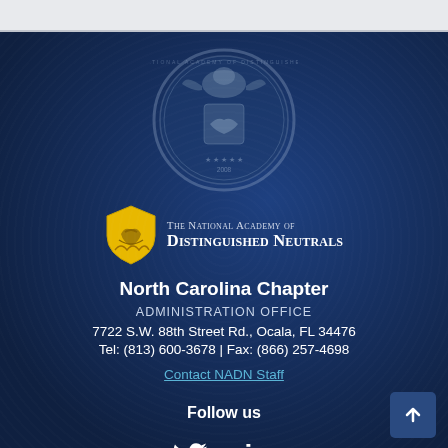[Figure (logo): National Academy of Distinguished Neutrals circular seal/emblem in grey-blue tones]
[Figure (logo): NADN yellow shield logo with text 'The National Academy of Distinguished Neutrals']
North Carolina Chapter
ADMINISTRATION OFFICE
7722 S.W. 88th Street Rd., Ocala, FL 34476
Tel: (813) 600-3678 | Fax: (866) 257-4698
Contact NADN Staff
Follow us
[Figure (illustration): Twitter bird icon in white]
[Figure (illustration): LinkedIn 'in' icon in white]